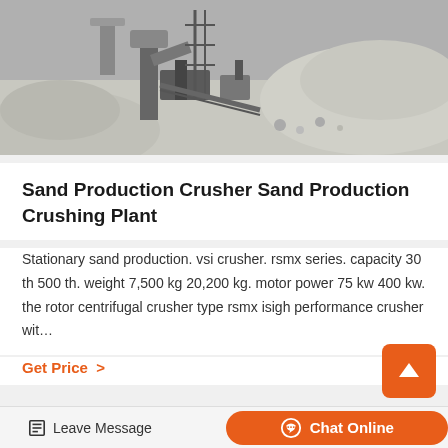[Figure (photo): Aerial view of a sand crusher production site with machinery, gravel piles, and construction equipment]
Sand Production Crusher Sand Production Crushing Plant
Stationary sand production. vsi crusher. rsmx series. capacity 30 th 500 th. weight 7,500 kg 20,200 kg. motor power 75 kw 400 kw. the rotor centrifugal crusher type rsmx isigh performance crusher wit…
Get Price >
[Figure (photo): Concrete batching/mixing plant against a blue sky, with silos and conveyor equipment]
Leave Message   Chat Online